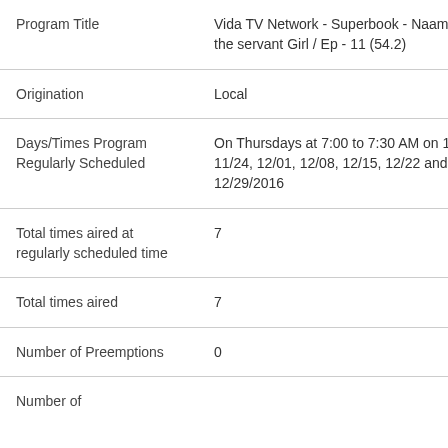| Field | Value |
| --- | --- |
| Program Title | Vida TV Network - Superbook - Naaman and the servant Girl / Ep - 11 (54.2) |
| Origination | Local |
| Days/Times Program Regularly Scheduled | On Thursdays at 7:00 to 7:30 AM on 11/17, 11/24, 12/01, 12/08, 12/15, 12/22 and 12/29/2016 |
| Total times aired at regularly scheduled time | 7 |
| Total times aired | 7 |
| Number of Preemptions | 0 |
| Number of |  |